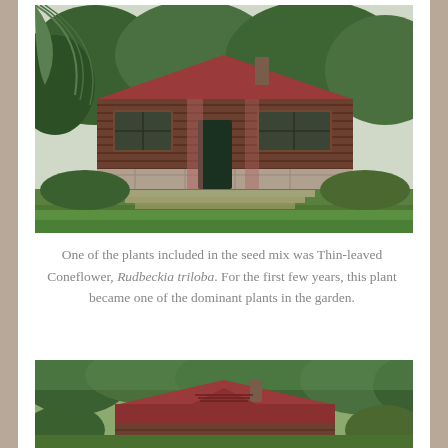[Figure (photo): A log cabin with a red roof surrounded by green trees and lush lawn. Stone foundation visible at the base. Broad green lawn in front with stone retaining wall steps.]
One of the plants included in the seed mix was Thin-leaved Coneflower, Rudbeckia triloba. For the first few years, this plant became one of the dominant plants in the garden.
[Figure (photo): Partial view of a cabin or building with a red/brown roof and chimney, surrounded by dense green trees.]